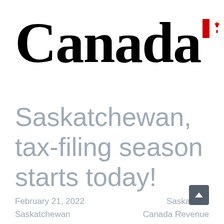[Figure (logo): Canada wordmark with maple leaf flag logo — large black serif 'Canada' text with the Canadian flag (red-white-red with maple leaf) displayed to the upper right of the letter 'a']
Saskatchewan, tax-filing season starts today!
February 21, 2022    Saskatoon, Saskatchewan    Canada Revenue